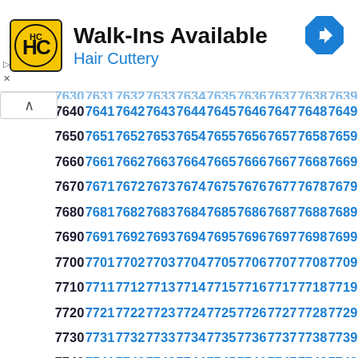[Figure (logo): Hair Cuttery HC logo in yellow square with advertisement banner showing Walk-Ins Available and navigation icon]
Walk-Ins Available
Hair Cuttery
| 7640 | 7641 | 7642 | 7643 | 7644 | 7645 | 7646 | 7647 | 7648 | 7649 |
| 7650 | 7651 | 7652 | 7653 | 7654 | 7655 | 7656 | 7657 | 7658 | 7659 |
| 7660 | 7661 | 7662 | 7663 | 7664 | 7665 | 7666 | 7667 | 7668 | 7669 |
| 7670 | 7671 | 7672 | 7673 | 7674 | 7675 | 7676 | 7677 | 7678 | 7679 |
| 7680 | 7681 | 7682 | 7683 | 7684 | 7685 | 7686 | 7687 | 7688 | 7689 |
| 7690 | 7691 | 7692 | 7693 | 7694 | 7695 | 7696 | 7697 | 7698 | 7699 |
| 7700 | 7701 | 7702 | 7703 | 7704 | 7705 | 7706 | 7707 | 7708 | 7709 |
| 7710 | 7711 | 7712 | 7713 | 7714 | 7715 | 7716 | 7717 | 7718 | 7719 |
| 7720 | 7721 | 7722 | 7723 | 7724 | 7725 | 7726 | 7727 | 7728 | 7729 |
| 7730 | 7731 | 7732 | 7733 | 7734 | 7735 | 7736 | 7737 | 7738 | 7739 |
| 7740 | 7741 | 7742 | 7743 | 7744 | 7745 | 7746 | 7747 | 7748 | 7749 |
| 7750 | 7751 | 7752 | 7753 | 7754 | 7755 | 7756 | 7757 | 7758 | 7759 |
| 7760 | 7761 | 7762 | 7763 | 7764 | 7765 | 7766 | 7767 | 7768 | 7769 |
| 7770 | 7771 | 7772 | 7773 | 7774 | 7775 | 7776 | 7777 | 7778 | 7779 |
| 7780 | 7781 | 7782 | 7783 | 7784 | 7785 | 7786 | 7787 | 7788 | 7789 |
| 7790 | 7791 | 7792 | 7793 | 7794 | 7795 | 7796 | 7797 | 7798 | 7799 |
| 7800 | 7801 | 7802 | 7803 | 7804 | 7805 | 7806 | 7807 | 7808 | 7809 |